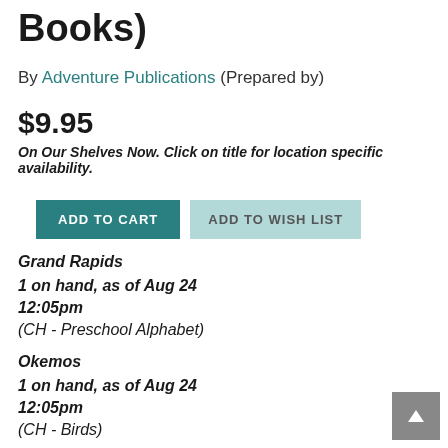Books)
By Adventure Publications (Prepared by)
$9.95
On Our Shelves Now. Click on title for location specific availability.
Grand Rapids
1 on hand, as of Aug 24
12:05pm
(CH - Preschool Alphabet)
Okemos
1 on hand, as of Aug 24
12:05pm
(CH - Birds)